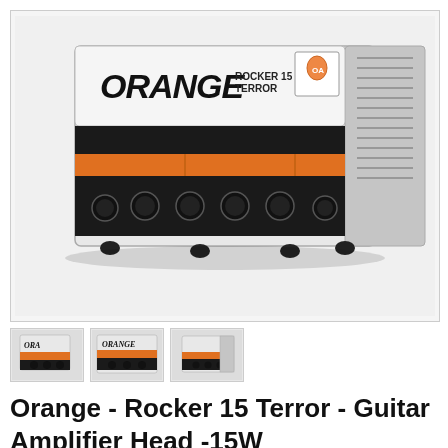[Figure (photo): Orange Rocker 15 Terror guitar amplifier head shown at an angle. White and black chassis with orange control panel, knobs visible on front. Orange logo in stylized black lettering on the white front panel. Product shoots against white background.]
[Figure (photo): Thumbnail 1: small image of Orange Rocker 15 Terror amp, angled view]
[Figure (photo): Thumbnail 2: small image of Orange Rocker 15 Terror amp, front-facing view]
[Figure (photo): Thumbnail 3: small image of Orange Rocker 15 Terror amp, alternate angle]
Orange - Rocker 15 Terror - Guitar Amplifier Head -15W